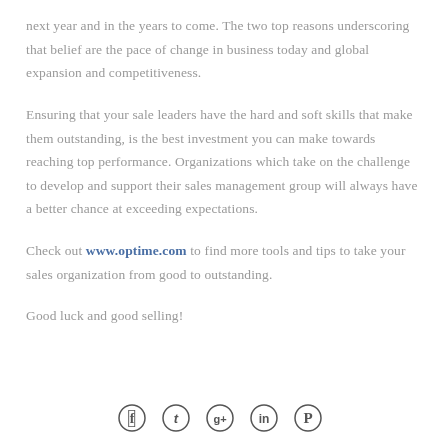next year and in the years to come. The two top reasons underscoring that belief are the pace of change in business today and global expansion and competitiveness.
Ensuring that your sale leaders have the hard and soft skills that make them outstanding, is the best investment you can make towards reaching top performance. Organizations which take on the challenge to develop and support their sales management group will always have a better chance at exceeding expectations.
Check out www.optime.com to find more tools and tips to take your sales organization from good to outstanding.
Good luck and good selling!
[Figure (other): Social media icons row: Facebook, Twitter, Google+, LinkedIn, Pinterest]